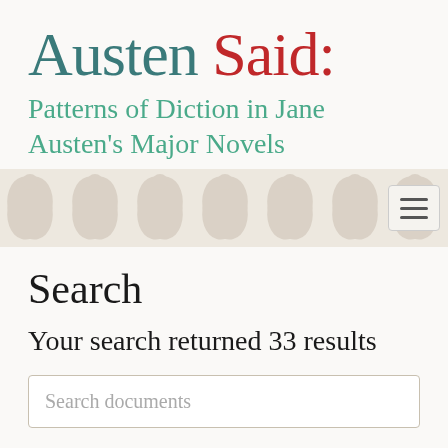Austen Said: Patterns of Diction in Jane Austen's Major Novels
[Figure (other): Decorative banner with botanical/floral pattern and a hamburger menu button on the right side]
Search
Your search returned 33 results
Search documents